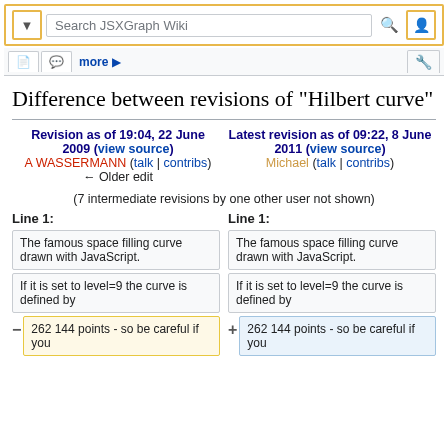Search JSXGraph Wiki
Difference between revisions of "Hilbert curve"
Revision as of 19:04, 22 June 2009 (view source)
A WASSERMANN (talk | contribs)
← Older edit
Latest revision as of 09:22, 8 June 2011 (view source)
Michael (talk | contribs)
(7 intermediate revisions by one other user not shown)
Line 1:
Line 1:
The famous space filling curve drawn with JavaScript.
The famous space filling curve drawn with JavaScript.
If it is set to level=9 the curve is defined by
If it is set to level=9 the curve is defined by
262 144 points - so be careful if you
262 144 points - so be careful if you